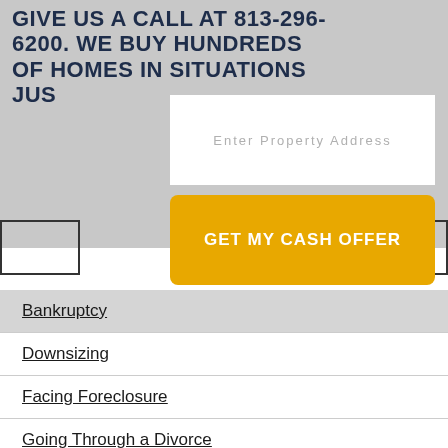GIVE US A CALL AT 813-296-6200. WE BUY HUNDREDS OF HOMES IN SITUATIONS JUS…
[Figure (screenshot): White input text field with placeholder text 'Enter Property Address' on a grey background]
[Figure (other): Yellow/gold rounded button with white bold text 'GET MY CASH OFFER']
Bankruptcy
Downsizing
Facing Foreclosure
Going Through a Divorce
Inherited a House
Late on Mortgage Payments